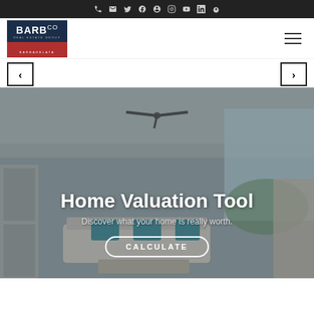Social media icons bar: phone, email, twitter, facebook, pinterest, instagram, youtube, linkedin, yelp
[Figure (logo): BarbCo Real Estate Group / Barbadelata logo — dark navy box with red bar]
[Figure (screenshot): Hamburger menu icon (three horizontal lines)]
[Figure (screenshot): Left arrow carousel navigation button]
[Figure (screenshot): Right arrow carousel navigation button]
[Figure (photo): Interior photo of bright modern living room with ceiling fan, teal cushions on sofa, kitchen visible in background]
Home Valuation Tool
Discover what your home is really worth.
CALCULATE